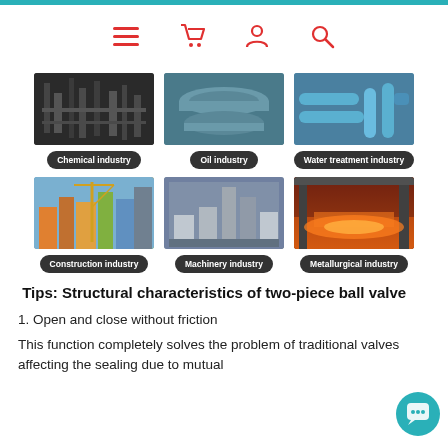Navigation bar with menu, cart, user, and search icons
[Figure (photo): Chemical industry facility with pipes and equipment]
Chemical industry
[Figure (photo): Oil industry with large blue pipes and rollers]
Oil industry
[Figure (photo): Water treatment industry with blue pipes]
Water treatment industry
[Figure (photo): Construction industry with cranes and city buildings]
Construction industry
[Figure (photo): Machinery industry factory interior]
Machinery industry
[Figure (photo): Metallurgical industry with glowing hot metal]
Metallurgical industry
Tips: Structural characteristics of two-piece ball valve
1. Open and close without friction
This function completely solves the problem of traditional valves affecting the sealing due to mutual